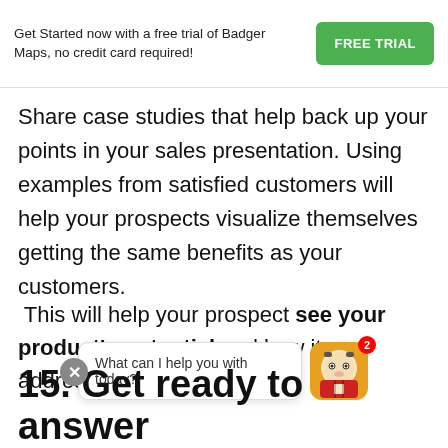Get Started now with a free trial of Badger Maps, no credit card required!
Share case studies that help back up your points in your sales presentation. Using examples from satisfied customers will help your prospects visualize themselves getting the same benefits as your customers.
This will help your prospect see your product's potential and how it can address their needs.
What can I help you with today?
15. Get ready to answer